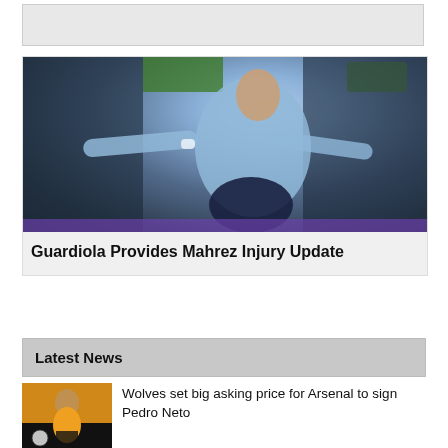[Figure (photo): Gray advertisement banner at top of page]
[Figure (photo): Soccer player in light blue Manchester City jersey celebrating with arms outstretched, dark stadium background]
Guardiola Provides Mahrez Injury Update
Latest News
[Figure (photo): Soccer player in Wolverhampton Wanderers yellow/black kit on field]
Wolves set big asking price for Arsenal to sign Pedro Neto